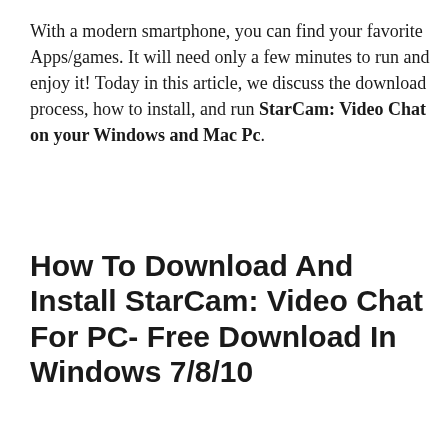With a modern smartphone, you can find your favorite Apps/games. It will need only a few minutes to run and enjoy it! Today in this article, we discuss the download process, how to install, and run StarCam: Video Chat on your Windows and Mac Pc.
How To Download And Install StarCam: Video Chat For PC- Free Download In Windows 7/8/10